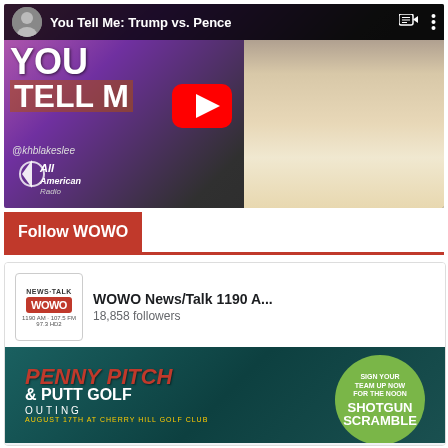[Figure (screenshot): YouTube video thumbnail showing 'You Tell Me: Trump vs. Pence' with a blonde woman presenter and YouTube play button overlay. Shows All American Radio logo and @khblakeslee handle.]
Follow WOWO
[Figure (screenshot): Facebook embed showing WOWO News/Talk 1190 AM page with 18,858 followers. Image shows Penny Pitch & Putt Golf Outing advertisement for August 17th at Cherry Hill Golf Club with a green circle for Shotgun Scramble sign-up. Follow Page and Share buttons visible.]